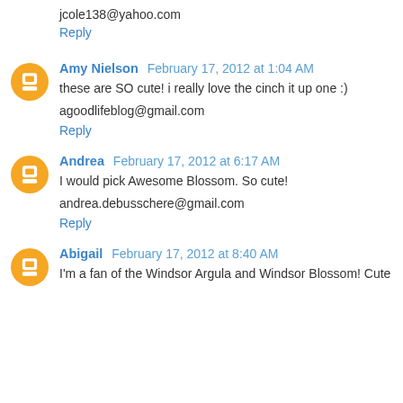jcole138@yahoo.com
Reply
Amy Nielson  February 17, 2012 at 1:04 AM
these are SO cute! i really love the cinch it up one :)
agoodlifeblog@gmail.com
Reply
Andrea  February 17, 2012 at 6:17 AM
I would pick Awesome Blossom. So cute!
andrea.debusschere@gmail.com
Reply
Abigail  February 17, 2012 at 8:40 AM
I'm a fan of the Windsor Argula and Windsor Blossom! Cute